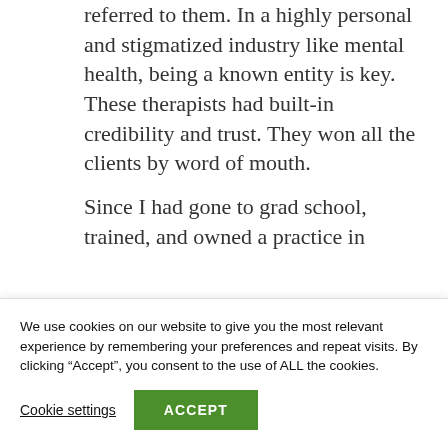referred to them. In a highly personal and stigmatized industry like mental health, being a known entity is key. These therapists had built-in credibility and trust. They won all the clients by word of mouth.
Since I had gone to grad school, trained, and owned a practice in
We use cookies on our website to give you the most relevant experience by remembering your preferences and repeat visits. By clicking “Accept”, you consent to the use of ALL the cookies.
Cookie settings
ACCEPT